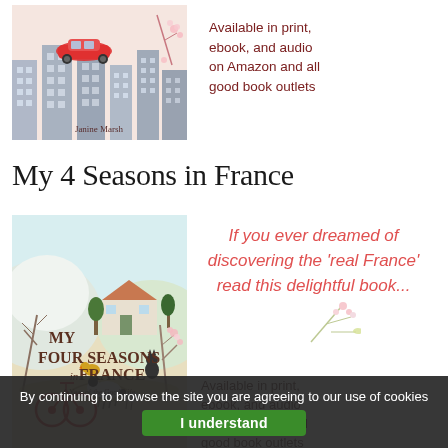[Figure (illustration): Book cover illustration: cartoon cityscape with a red car on top of buildings, author name Janine Marsh at bottom]
Available in print, ebook, and audio on Amazon and all good book outlets
My 4 Seasons in France
[Figure (illustration): Book cover for 'My Four Seasons in France: A Year of the Good Life' by Janine Marsh, illustrated with a countryside scene featuring a house, sheep, bicycle, trees, and animals]
If you ever dreamed of discovering the 'real France' read this delightful book...
Available in print, ebook, and audio on Amazon and all good book outlets
By continuing to browse the site you are agreeing to our use of cookies